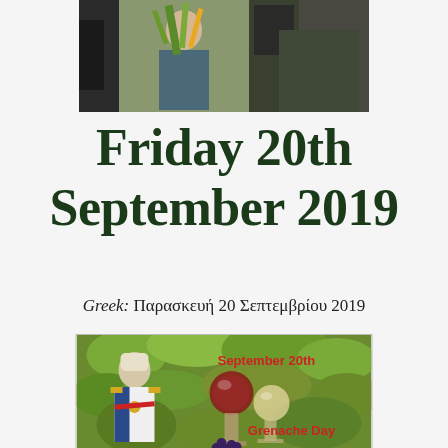[Figure (photo): Top photo showing people carrying vegetables/greens on a street, partially cropped]
Friday 20th September 2019
Greek: Παρασκευή 20 Σεπτεμβρίου 2019
[Figure (photo): Photo of a man dressed as Napoleon Bonaparte in a vineyard setting with wine glasses, text overlay reads 'September 20th' and 'Grenache Day']